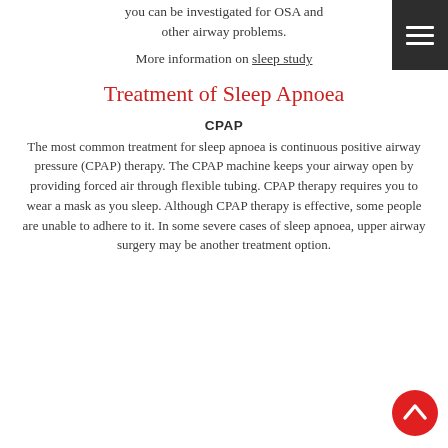you can be investigated for OSA and other airway problems.
More information on sleep study
Treatment of Sleep Apnoea
CPAP
The most common treatment for sleep apnoea is continuous positive airway pressure (CPAP) therapy. The CPAP machine keeps your airway open by providing forced air through flexible tubing. CPAP therapy requires you to wear a mask as you sleep. Although CPAP therapy is effective, some people are unable to adhere to it. In some severe cases of sleep apnoea, upper airway surgery may be another treatment option.